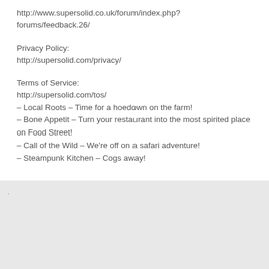http://www.supersolid.co.uk/forum/index.php?forums/feedback.26/
Privacy Policy:
http://supersolid.com/privacy/
Terms of Service:
http://supersolid.com/tos/
– Local Roots – Time for a hoedown on the farm!
– Bone Appetit – Turn your restaurant into the most spirited place on Food Street!
– Call of the Wild – We're off on a safari adventure!
– Steampunk Kitchen – Cogs away!
.